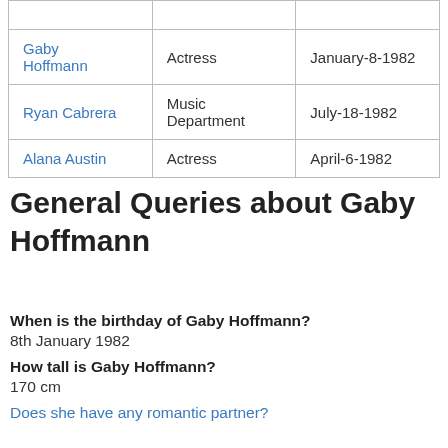| Name | Role | Date |
| --- | --- | --- |
| Gaby Hoffmann | Actress | January-8-1982 |
| Ryan Cabrera | Music Department | July-18-1982 |
| Alana Austin | Actress | April-6-1982 |
General Queries about Gaby Hoffmann
When is the birthday of Gaby Hoffmann?
8th January 1982
How tall is Gaby Hoffmann?
170 cm
Does she have any romantic partner?